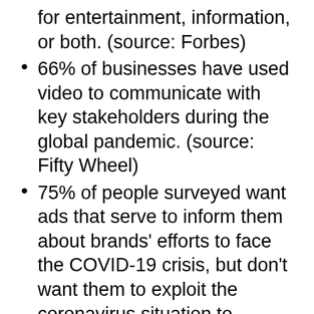for entertainment, information, or both. (source: Forbes)
66% of businesses have used video to communicate with key stakeholders during the global pandemic. (source: Fifty Wheel)
75% of people surveyed want ads that serve to inform them about brands' efforts to face the COVID-19 crisis, but don't want them to exploit the coronavirus situation to promote themselves. (source: Kantar)
Video can convey and elicit emotion, build trust and